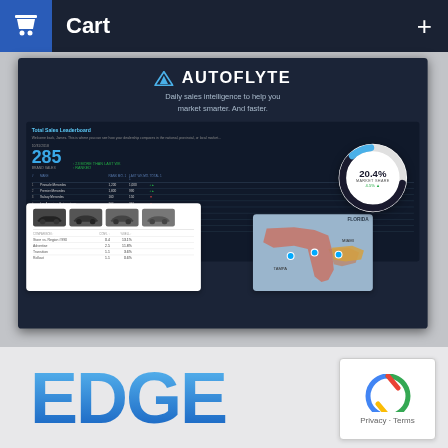Cart
[Figure (screenshot): Autoflyte dashboard screenshot showing Total Sales Leaderboard with number 285, data table with dealer rankings, vehicle comparison card with 4 car images, Florida map, and 20.4% market share donut chart. Tagline: Daily sales intelligence to help you market smarter. And faster.]
[Figure (logo): EDGE logo in blue gradient]
[Figure (other): reCAPTCHA widget with Privacy - Terms text]